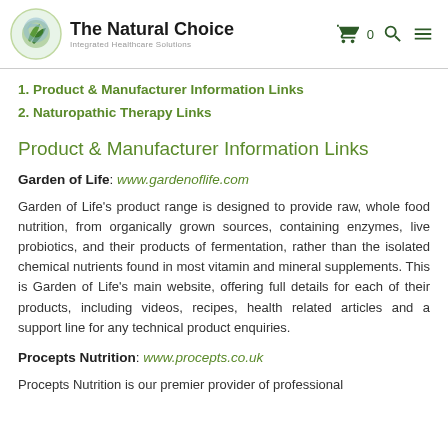The Natural Choice — Integrated Healthcare Solutions
1. Product & Manufacturer Information Links
2. Naturopathic Therapy Links
Product & Manufacturer Information Links
Garden of Life: www.gardenoflife.com
Garden of Life's product range is designed to provide raw, whole food nutrition, from organically grown sources, containing enzymes, live probiotics, and their products of fermentation, rather than the isolated chemical nutrients found in most vitamin and mineral supplements. This is Garden of Life's main website, offering full details for each of their products, including videos, recipes, health related articles and a support line for any technical product enquiries.
Procepts Nutrition: www.procepts.co.uk
Procepts Nutrition is our premier provider of professional